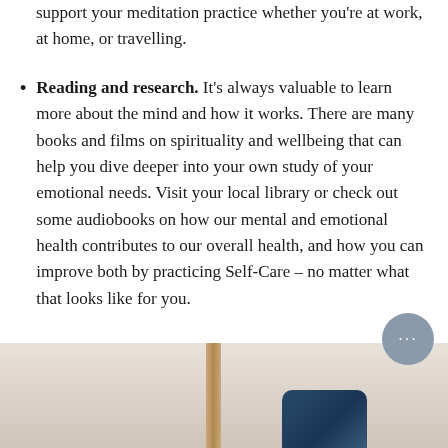support your meditation practice whether you're at work, at home, or travelling.
Reading and research. It's always valuable to learn more about the mind and how it works. There are many books and films on spirituality and wellbeing that can help you dive deeper into your own study of your emotional needs. Visit your local library or check out some audiobooks on how our mental and emotional health contributes to our overall health, and how you can improve both by practicing Self-Care – no matter what that looks like for you.
[Figure (photo): Bottom portion of a photo showing a wooden element (lamp or furniture piece) and a dark blue/navy rounded object, on a light beige/neutral background. A grey circular chat button with ellipsis overlays the top-right of the photo area.]